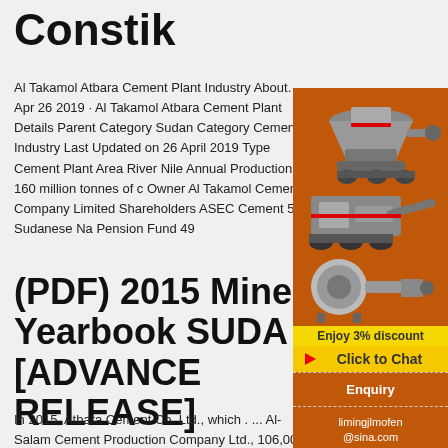Constik
Al Takamol Atbara Cement Plant Industry About. Apr 26 2019 · Al Takamol Atbara Cement Plant Details Parent Category Sudan Category Cement Industry Last Updated on 26 April 2019 Type Cement Plant Area River Nile Annual Production 160 million tonnes of c Owner Al Takamol Cement Company Limited Shareholders ASEC Cement 51 Sudanese Na Pension Fund 49
[Figure (illustration): Orange advertisement sidebar showing industrial machinery (crushers, mills) with 'Enjoy 3% discount', 'Click to Chat', 'Enquiry', and 'limingjlmofen@sina.com' text.]
(PDF) 2015 Mine Yearbook SUDA [ADVANCE RELEASE]
In 2015, Atbara Cement Co. Ltd., which . ... Al-Salam Cement Production Company Ltd., 106,000 t;